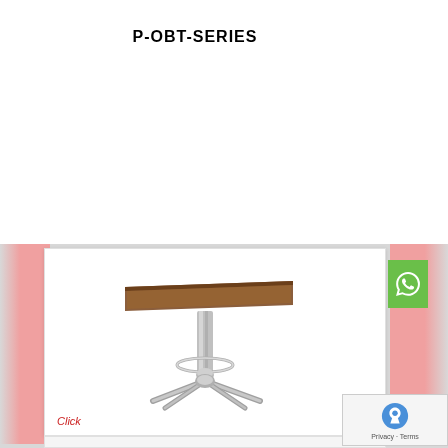P-OBT-SERIES
[Figure (photo): A tall bar table with a square walnut-colored wooden top and a chrome pedestal base with a footrest ring and four-star base legs.]
Click